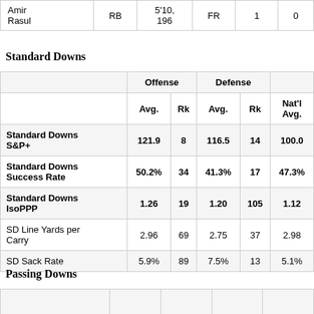|  | RB | 5'10, 196 | FR |  | 1 |  | 0 |
| --- | --- | --- | --- | --- | --- | --- | --- |
| Amir Rasul | RB | 5'10, 196 | FR |  | 1 |  | 0 |
Standard Downs
|  | Offense Avg. | Offense Rk | Defense Avg. | Defense Rk | Nat'l Avg. |
| --- | --- | --- | --- | --- | --- |
| Standard Downs S&P+ | 121.9 | 8 | 116.5 | 14 | 100.0 |
| Standard Downs Success Rate | 50.2% | 34 | 41.3% | 17 | 47.3% |
| Standard Downs IsoPPP | 1.26 | 19 | 1.20 | 105 | 1.12 |
| SD Line Yards per Carry | 2.96 | 69 | 2.75 | 37 | 2.98 |
| SD Sack Rate | 5.9% | 89 | 7.5% | 13 | 5.1% |
Passing Downs